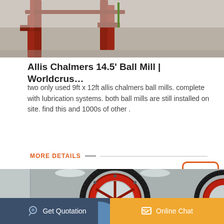[Figure (photo): Industrial equipment / machinery photo at top of page, showing red metal framework on concrete floor]
Allis Chalmers 14.5’ Ball Mill | Worldcrus…
two only used 9ft x 12ft allis chalmers ball mills. complete with lubrication systems. both ball mills are still installed on site. find this and 1000s of other .
MORE DETAILS
[Figure (photo): Large red and grey industrial ball mill gear ring in a factory/warehouse setting]
Get Quotation    Online Chat